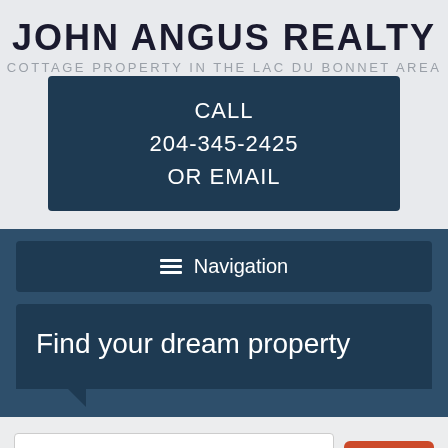JOHN ANGUS REALTY
COTTAGE PROPERTY IN THE LAC DU BONNET AREA
CALL
204-345-2425
OR EMAIL
Navigation
Find your dream property
Types
Locations
Search